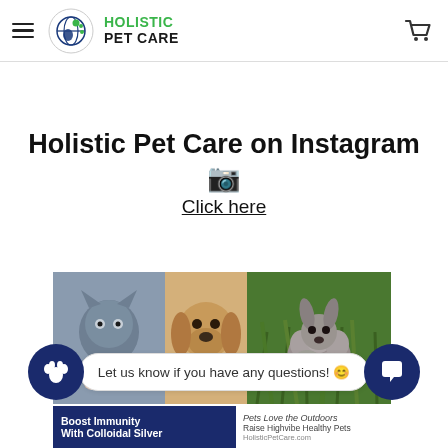Holistic Pet Care — navigation header with hamburger menu, logo, and cart icon
Holistic Pet Care on Instagram 📷
Click here
[Figure (photo): Grid of three Instagram photos: a grey cat being held by fingers, a golden retriever puppy looking down, and a fluffy dog outdoors in grass]
Let us know if you have any questions! 😊
Boost Immunity With Colloidal Silver
Pets Love the Outdoors — Raise Highvibe Healthy Pets — HolisticPetCare.com